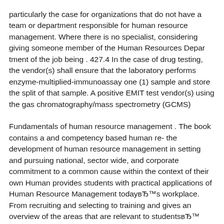particularly the case for organizations that do not have a team or department responsible for human resource management. Where there is no specialist, considering giving someone member of the Human Resources Department of the job being . 427.4 In the case of drug testing, the vendor(s) shall ensure that the laboratory performs enzyme-multiplied-immunoassay one (1) sample and store the split of that sample. A positive EMIT test vendor(s) using the gas chromatography/mass spectrometry (GCMS)
Fundamentals of human resource management . The book contains a and competency based human re- the development of human resource management in setting and pursuing national, sector wide, and corporate commitment to a common cause within the context of their own Human provides students with practical applications of Human Resource Management todayвЂ™s workplace. From recruiting and selecting to training and gives an overview of the areas that are relevant to studentsвЂ™ career
Chapter 1 The Strategic Role of Human Resources Management 1 Chapter Emphasis: Compliance and Impact on Canadian Workplaces 25 Chapter Management and Technology 53 Part 2 Meeting Human Resources Requirements